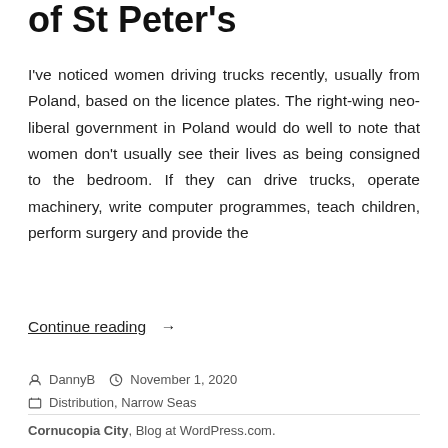of St Peter's
I've noticed women driving trucks recently, usually from Poland, based on the licence plates. The right-wing neo-liberal government in Poland would do well to note that women don't usually see their lives as being consigned to the bedroom. If they can drive trucks, operate machinery, write computer programmes, teach children, perform surgery and provide the
Continue reading →
DannyB  November 1, 2020  Distribution, Narrow Seas
Cornucopia City, Blog at WordPress.com.